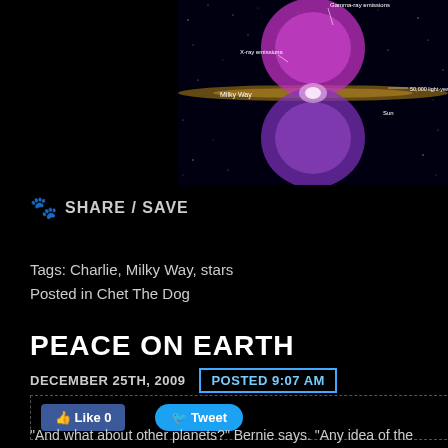[Figure (illustration): Astronomical illustration of the Milky Way galaxy with two large pink/magenta bubble structures above and below the galactic plane, labeled with 'Gamma-ray emissions', 'X-ray emissions', 'Milky Way', '50,000 light-years', and 'Sun']
SHARE / SAVE
Tags: Charlie, Milky Way, stars
Posted in Chet The Dog
PEACE ON EARTH
DECEMBER 25TH, 2009   POSTED 9:07 AM
Like 0   Tweet
"And what about other planets?" Bernie says. "Any idea of the numb our own galaxy?" I love when Bernie talks like this, but what it mean